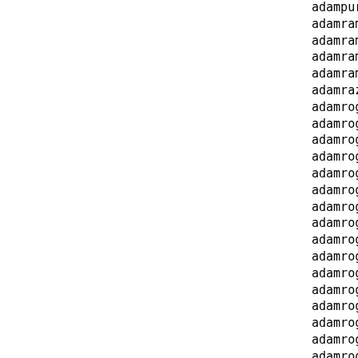adampuru111@outlook.c
adamramzy00001@gmail.
adamramzy003@gmail.co
adamramzy004@gmail.co
adamramzy009@gmail.co
adamrazak.moneygramfd
adamrogers010@hotmail
adamrogers011@hotmail
adamrogers02@hotmail.
adamrogers04@hotmail.
adamrogers05@hotmail.
adamrogers06@hotmail.
adamrogers099@hotmail
adamrogers101@yahoo.p
adamrogers111@outlook
adamrogers20012@live.
adamrogers200133@outl
adamrogers2012@gmail.
adamrogers222@outlook
adamrogers310@hotmail
adamrogers33333@outlo
adamrogers500011@outl
adamrogers600222@outl
adamrosi483@gmail.com
adams.buch@yahoo.com.
adams.fbi.gov@cyberse
adams.gtblondong@gmai
adams.helen67@gmail.c
adams.john@usa.com
adams.johnson1964@gma